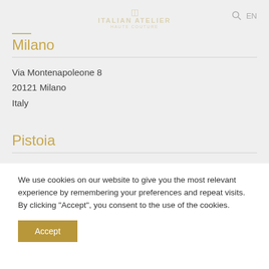ITALIAN ATELIER
Milano
Via Montenapoleone 8
20121 Milano
Italy
Pistoia
Via Cavour 37
51100 Pistoia
We use cookies on our website to give you the most relevant experience by remembering your preferences and repeat visits. By clicking “Accept”, you consent to the use of the cookies.